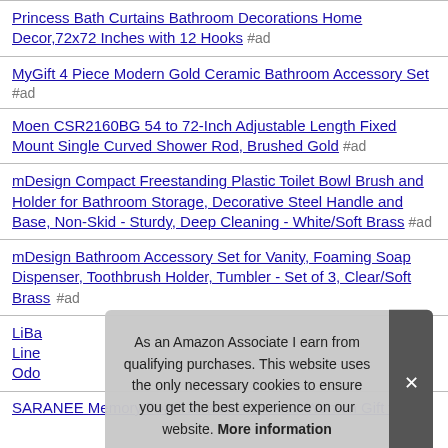Princess Bath Curtains Bathroom Decorations Home Decor,72x72 Inches with 12 Hooks #ad
MyGift 4 Piece Modern Gold Ceramic Bathroom Accessory Set #ad
Moen CSR2160BG 54 to 72-Inch Adjustable Length Fixed Mount Single Curved Shower Rod, Brushed Gold #ad
mDesign Compact Freestanding Plastic Toilet Bowl Brush and Holder for Bathroom Storage, Decorative Steel Handle and Base, Non-Skid - Sturdy, Deep Cleaning - White/Soft Brass #ad
mDesign Bathroom Accessory Set for Vanity, Foaming Soap Dispenser, Toothbrush Holder, Tumbler - Set of 3, Clear/Soft Brass #ad
LiBa... Line... Odo...
SARANEE Memory Foam African American Women Gift with
As an Amazon Associate I earn from qualifying purchases. This website uses the only necessary cookies to ensure you get the best experience on our website. More information